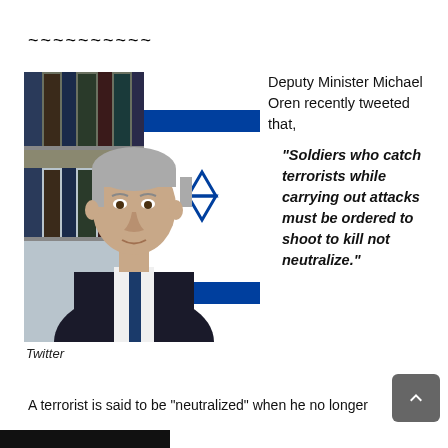~~~~~~~~~~
[Figure (photo): Portrait photo of a middle-aged man with grey hair wearing a dark suit and blue tie, with an Israeli flag visible in the background. Caption: Twitter]
Twitter
Deputy Minister Michael Oren recently tweeted that,
“Soldiers who catch terrorists while carrying out attacks must be ordered to shoot to kill not neutralize.”
A terrorist is said to be “neutralized” when he no longer